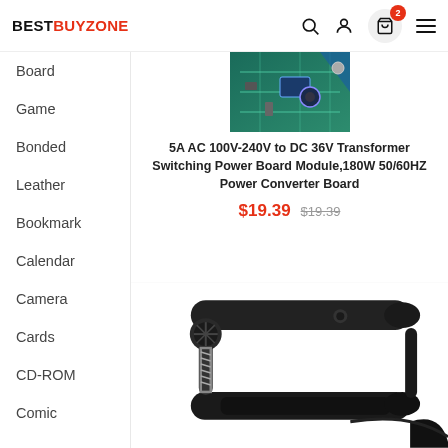BESTBUYZONE
Board
Game
Bonded
Leather
Bookmark
Calendar
Camera
Cards
CD-ROM
Comic
[Figure (photo): Circuit board / power module (cropped, top portion visible)]
5A AC 100V-240V to DC 36V Transformer Switching Power Board Module,180W 50/60HZ Power Converter Board
$19.39  $19.39
[Figure (photo): Black guitar capo device, close-up product photo]